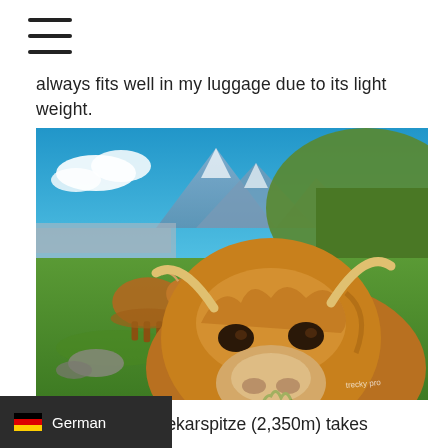[Figure (other): Hamburger menu icon (three horizontal lines)]
always fits well in my luggage due to its light weight.
[Figure (photo): Two Highland cattle (fluffy brown cows with horns) on an alpine meadow with green grass, a road, and blue sky with mountains in the background. Watermark reads 'trecky pro'.]
The hike to the Seekarspitze (2,350m) takes approx. 3-4 ... nd back), includes an ascent of approx.
[Figure (other): German language selector bar with German flag emoji and text 'German']